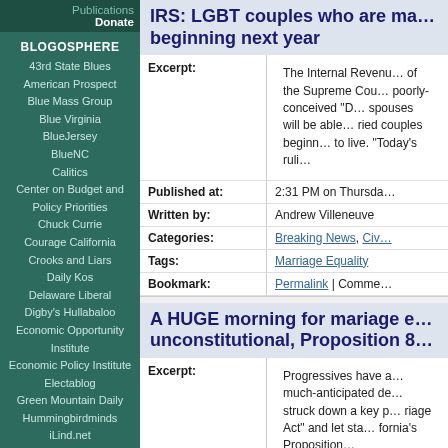Publications
Donate
BLOGOSPHERE
43rd State Blues
American Prospect
Blue Mass Group
Blue Virginia
BlueJersey
BlueNC
Calitics
Center on Budget and Policy Priorities
Chuck Currie
Courage California
Crooks and Liars
Daily Kos
Delaware Liberal
Digby's Hullabaloo
Economic Opportunity Institute
Economic Policy Institute
Electablog
Green Mountain Daily
Hummingbirdminds
iLind.net
Institute on Taxation and Economic Policy
KnoxViews
Left Coaster
IRS: LGBT couples who are ma... beginning next year
The Internal Revenue... to live. “Today’s ruli...
2:31 PM on Thursda...
Andrew Villeneuve
Breaking News, Civ...
Marriage Equality
Permalink | Comme...
A HUGE morning for mariage e... unconstitutional, Proposition 8...
Progressives have a... fornia’s Proposition...